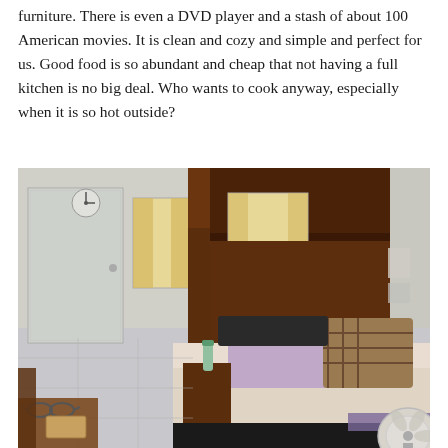furniture. There is even a DVD player and a stash of about 100 American movies. It is clean and cozy and simple and perfect for us. Good food is so abundant and cheap that not having a full kitchen is no big deal. Who wants to cook anyway, especially when it is so hot outside?
[Figure (photo): Interior photo of a simple bedroom with a large bed with lavender and plaid pillows, dark wood built-in headboard and shelving, curtained windows, a white door, a small water bottle on a nightstand, sunglasses on a wooden table in the foreground, and a fan in the bottom right corner.]